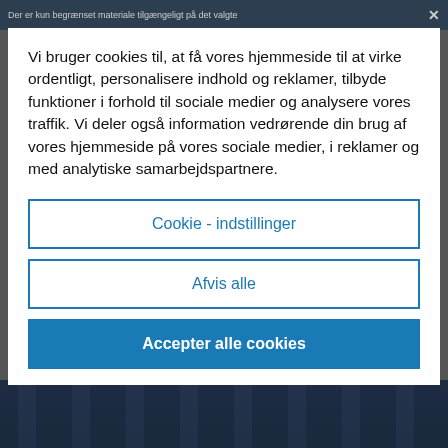Der er kun begrænset materiale tilgængeligt på det valgte ...  ×
Vi bruger cookies til, at få vores hjemmeside til at virke ordentligt, personalisere indhold og reklamer, tilbyde funktioner i forhold til sociale medier og analysere vores traffik. Vi deler også information vedrørende din brug af vores hjemmeside på vores sociale medier, i reklamer og med analytiske samarbejdspartnere.
Cookie - indstillinger
Afvis alle
Accepter alle cookies
[Figure (photo): Dark technology/server image visible at the bottom of the page behind the cookie modal]